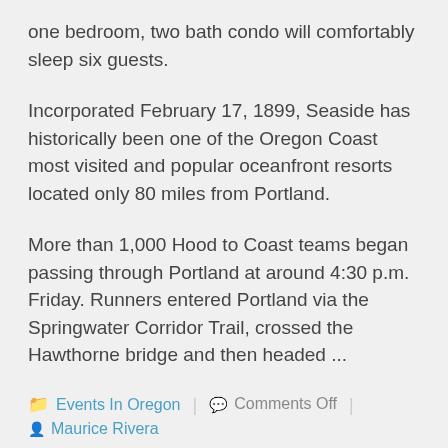one bedroom, two bath condo will comfortably sleep six guests.
Incorporated February 17, 1899, Seaside has historically been one of the Oregon Coast most visited and popular oceanfront resorts located only 80 miles from Portland.
More than 1,000 Hood to Coast teams began passing through Portland at around 4:30 p.m. Friday. Runners entered Portland via the Springwater Corridor Trail, crossed the Hawthorne bridge and then headed ...
Events In Oregon | Comments Off | Maurice Rivera